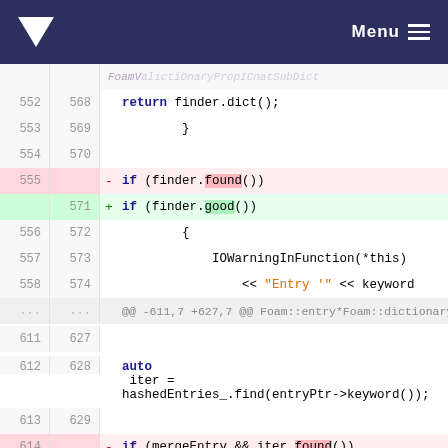Menu
Code diff view showing changes in Foam dictionary/C++ source. Lines 552-616/568-632 shown. Key changes: finder.found() replaced with finder.good(), iter.found() replaced with iter.good().